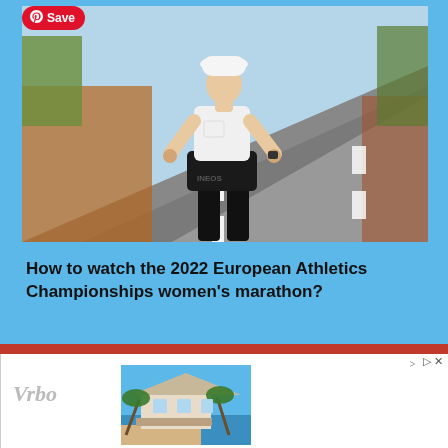[Figure (photo): Female runner in white tank top, black compression shorts labeled INEOS, white bucket hat, standing on an empty two-lane road in a dry landscape. Pinterest 'Save' button overlaid in top-left corner.]
How to watch the 2022 European Athletics Championships women's marathon?
[Figure (photo): Advertisement banner for Vrbo showing a beach house with palm trees.]